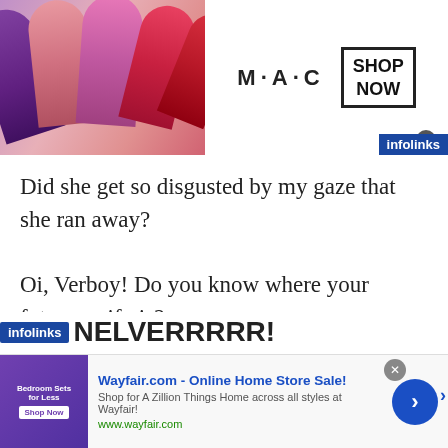[Figure (photo): MAC cosmetics advertisement banner showing lipsticks with MAC logo and SHOP NOW button]
Did she get so disgusted by my gaze that she ran away?
Oi, Verboy! Do you know where your future waifu is?
“Eterna…? Now that you mention it, I don’t see her anywhere…”
NELVERRRRR!
[Figure (screenshot): Wayfair.com online home store advertisement with bedroom sets image]